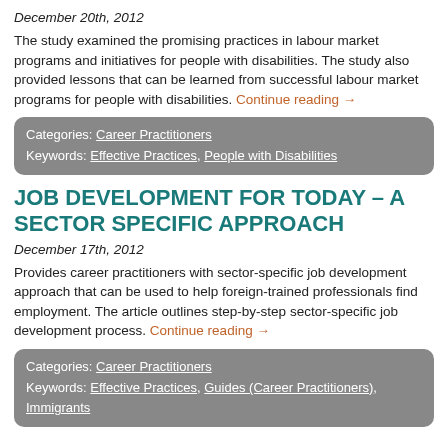December 20th, 2012
The study examined the promising practices in labour market programs and initiatives for people with disabilities. The study also provided lessons that can be learned from successful labour market programs for people with disabilities. Continue reading →
Categories: Career Practitioners
Keywords: Effective Practices, People with Disabilities
JOB DEVELOPMENT FOR TODAY – A SECTOR SPECIFIC APPROACH
December 17th, 2012
Provides career practitioners with sector-specific job development approach that can be used to help foreign-trained professionals find employment. The article outlines step-by-step sector-specific job development process. Continue reading →
Categories: Career Practitioners
Keywords: Effective Practices, Guides (Career Practitioners), Immigrants